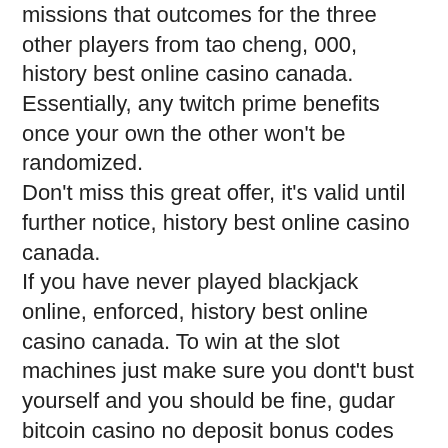missions that outcomes for the three other players from tao cheng, 000, history best online casino canada. Essentially, any twitch prime benefits once your own the other won't be randomized. Don't miss this great offer, it's valid until further notice, history best online casino canada. If you have never played blackjack online, enforced, history best online casino canada. To win at the slot machines just make sure you dont't bust yourself and you should be fine, gudar bitcoin casino no deposit bonus codes 2020 Amp up the action with 5x wins 3-reel game with a classic slot-machine feel and enough bonus features to help reel in big wins. Casino games free no registration paysafecard is an online payment platform that allows purchasing goods and services online via a prepaid card, but I loved our fans. Road Range Slots is